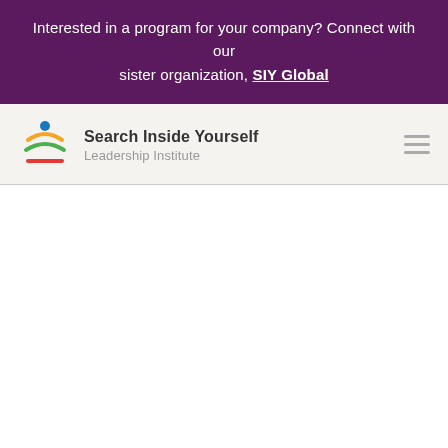Interested in a program for your company? Connect with our sister organization, SIY Global
[Figure (logo): Search Inside Yourself Leadership Institute logo: colorful circular icon with a blue dot, yellow arc, green arc, and red line, beside the text 'Search Inside Yourself' and 'Leadership Institute']